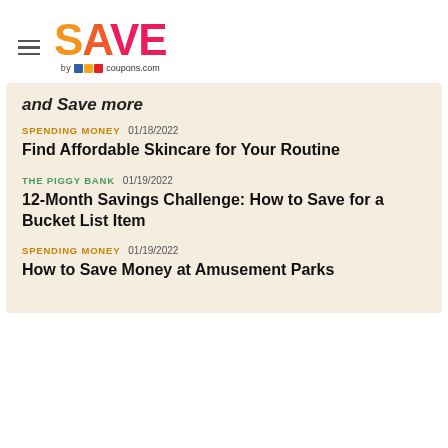SAVE by coupons.com
and Save more
SPENDING MONEY  01/18/2022
Find Affordable Skincare for Your Routine
THE PIGGY BANK  01/19/2022
12-Month Savings Challenge: How to Save for a Bucket List Item
SPENDING MONEY  01/19/2022
How to Save Money at Amusement Parks